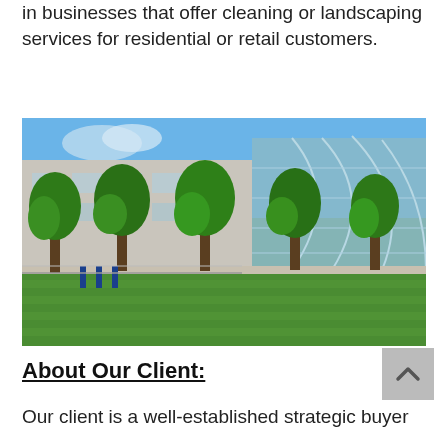in businesses that offer cleaning or landscaping services for residential or retail customers.
[Figure (photo): Photo of a commercial building with green lawn and tall trees in the foreground under a blue sky]
About Our Client:
Our client is a well-established strategic buyer